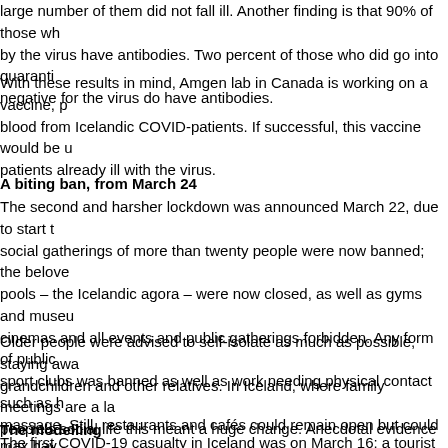large number of them did not fall ill. Another finding is that 90% of those who were infected by the virus have antibodies. Two percent of those who did go into quarantine and tested negative for the virus do have antibodies.
With these results in mind, Amgen lab in Canada is working on a vaccine, possibly using blood from Icelandic COVID-patients. If successful, this vaccine would be used to treat patients already ill with the virus.
A biting ban, from March 24
The second and harsher lockdown was announced March 22, due to start then; social gatherings of more than twenty people were now banned; the beloved swimming pools – the Icelandic agora – were now closed, as well as gyms and museums and cinemas and all events and public gatherings forbidden. Any form of public sport clubs was banned as well as work needing physical contact such as hairdressing and massage. Still, restaurants and cafés could remain open but could max have 50 people, socially distant, at any one time.
Older people were advised to self-isolate as much as possible, staying away from grandchildren and other relatives. In Iceland, where family meetings are a large part of people's social life this meant a huge change. Anecdotal evidence shows that many people followed this religiously, even from early March, before the measures taken
The modelling
The first COVID-19 casualty in Iceland was on March 16: a tourist who cam